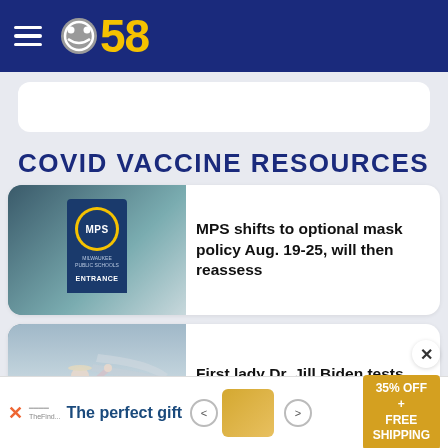CBS 58
COVID VACCINE RESOURCES
[Figure (photo): Milwaukee Public Schools entrance sign with MPS circular logo in blue and gold]
MPS shifts to optional mask policy Aug. 19-25, will then reassess
[Figure (photo): First lady Dr. Jill Biden waving, standing near an aircraft]
First lady Dr. Jill Biden tests positive for Covid-19
[Figure (other): Advertisement banner: The perfect gift, 35% OFF + FREE SHIPPING]